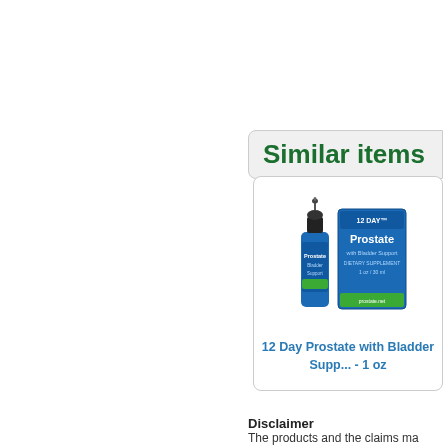Similar items
[Figure (photo): Product photo of 12 Day Prostate with Bladder Support supplement — a blue dropper bottle and a blue product box labeled '12 DAY Prostate' with bladder support.]
12 Day Prostate with Bladder Support - 1 oz
Disclaimer
The products and the claims ma